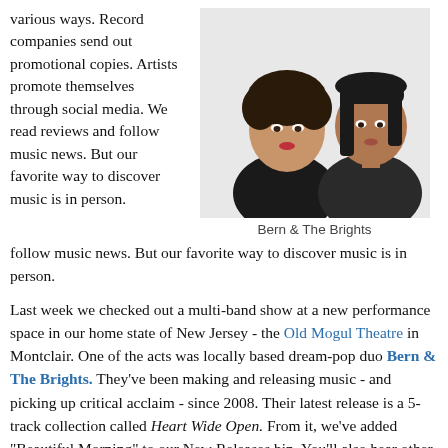various ways. Record companies send out promotional copies. Artists promote themselves through social media. We read reviews and follow music news. But our favorite way to discover music is in person.
[Figure (photo): Photo of two women (Bern & The Brights) against a white background — one with curly hair wearing a black top, one with straight hair wearing a dark shirt.]
Bern & The Brights
Last week we checked out a multi-band show at a new performance space in our home state of New Jersey - the Old Mogul Theatre in Montclair. One of the acts was locally based dream-pop duo Bern & The Brights. They've been making and releasing music - and picking up critical acclaim - since 2008. Their latest release is a 5-track collection called Heart Wide Open. From it, we've added "Beautiful Morning" to our New Releases bin. You'll also hear other cuts from their catalog popping up in our big mix.